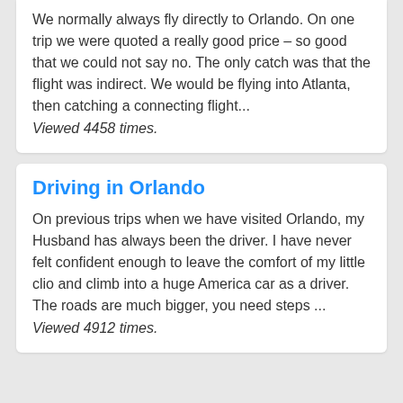We normally always fly directly to Orlando. On one trip we were quoted a really good price – so good that we could not say no. The only catch was that the flight was indirect. We would be flying into Atlanta, then catching a connecting flight...
Viewed 4458 times.
Driving in Orlando
On previous trips when we have visited Orlando, my Husband has always been the driver. I have never felt confident enough to leave the comfort of my little clio and climb into a huge America car as a driver. The roads are much bigger, you need steps ...
Viewed 4912 times.